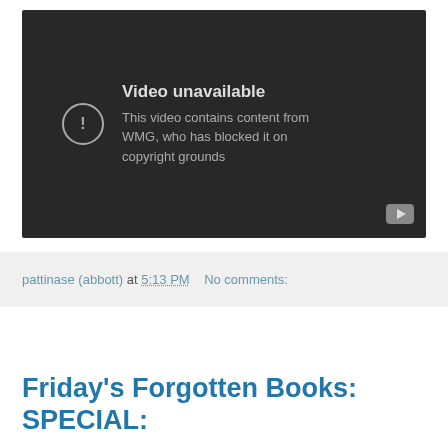[Figure (screenshot): Embedded YouTube video player showing an error state: 'Video unavailable. This video contains content from WMG, who has blocked it on copyright grounds.' Dark background with circular exclamation icon and YouTube button in bottom-right corner.]
pattinase (abbott) at 5:13 PM   No comments:
Friday's Forgotten Books: SPECIAL: